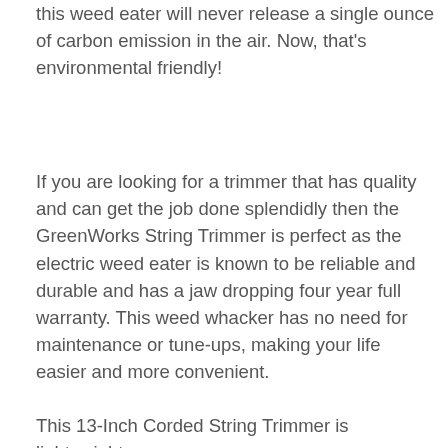this weed eater will never release a single ounce of carbon emission in the air. Now, that's environmental friendly!
If you are looking for a trimmer that has quality and can get the job done splendidly then the GreenWorks String Trimmer is perfect as the electric weed eater is known to be reliable and durable and has a jaw dropping four year full warranty. This weed whacker has no need for maintenance or tune-ups, making your life easier and more convenient.
This 13-Inch Corded String Trimmer is lightweight and...